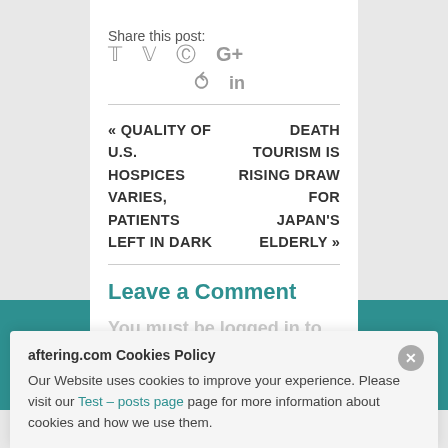Share this post:
« QUALITY OF U.S. HOSPICES VARIES, PATIENTS LEFT IN DARK
DEATH TOURISM IS RISING DRAW FOR JAPAN'S ELDERLY »
Leave a Comment
You must be logged in to post a
aftering.com Cookies Policy
Our Website uses cookies to improve your experience. Please visit our Test – posts page page for more information about cookies and how we use them.